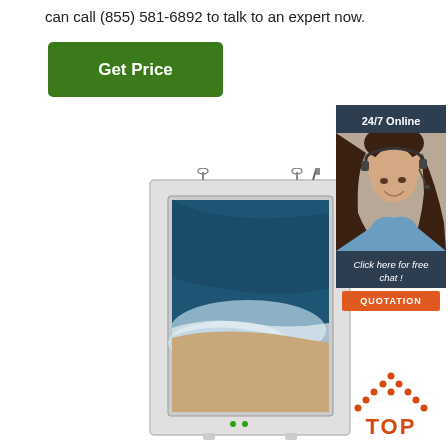can call (855) 581-6892 to talk to an expert now.
[Figure (other): Green 'Get Price' button]
[Figure (photo): Outdoor digital signage kiosk with beach image on screen, white enclosure, ceiling-mounted]
[Figure (infographic): 24/7 Online chat widget with woman wearing headset, 'Click here for free chat!' text and orange QUOTATION button]
[Figure (logo): TOP logo with orange dotted triangle above orange text 'TOP']